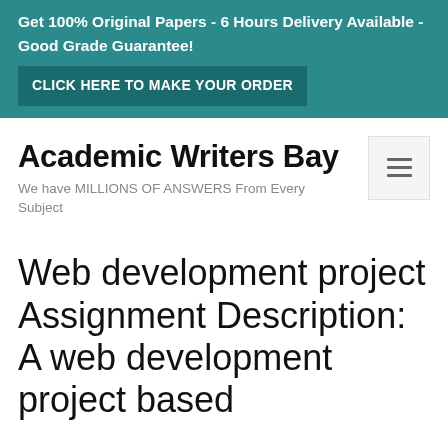Get 100% Original Papers - 6 Hours Delivery Available - Good Grade Guarantee! CLICK HERE TO MAKE YOUR ORDER
Academic Writers Bay
We have MILLIONS OF ANSWERS From Every Subject
Web development project Assignment Description: A web development project based